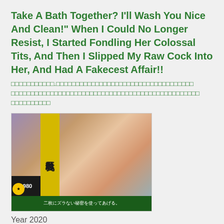Take A Bath Together? I'll Wash You Nice And Clean!" When I Could No Longer Resist, I Started Fondling Her Colossal Tits, And Then I Slipped My Raw Cock Into Her, And Had A Fakecest Affair!!
□□□□□□□□□□□.□□□□□□□□□□□□□□□□□□□□□□□□□□□□□□□□□□□□□□□□□□□□□□□□□□□□□□□□□□□□□□□□□□□□□□□□□□□□□□□□□
[Figure (photo): DVD/video cover image showing Japanese adult video product packaging]
Year 2020